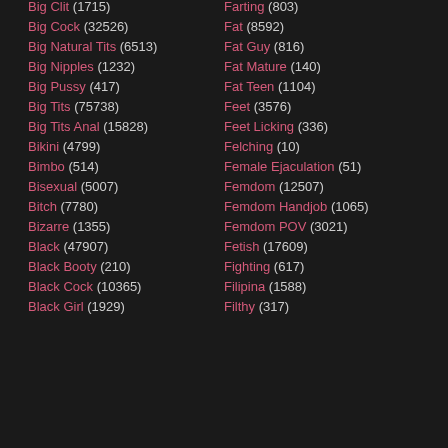Big Clit (1715)
Big Cock (32526)
Big Natural Tits (6513)
Big Nipples (1232)
Big Pussy (417)
Big Tits (75738)
Big Tits Anal (15828)
Bikini (4799)
Bimbo (514)
Bisexual (5007)
Bitch (7780)
Bizarre (1355)
Black (47907)
Black Booty (210)
Black Cock (10365)
Black Girl (1929)
Farting (803)
Fat (8592)
Fat Guy (816)
Fat Mature (140)
Fat Teen (1104)
Feet (3576)
Feet Licking (336)
Felching (10)
Female Ejaculation (51)
Femdom (12507)
Femdom Handjob (1065)
Femdom POV (3021)
Fetish (17609)
Fighting (617)
Filipina (1588)
Filthy (317)